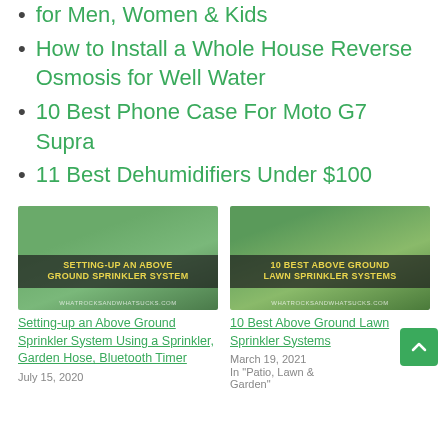for Men, Women & Kids
How to Install a Whole House Reverse Osmosis for Well Water
10 Best Phone Case For Moto G7 Supra
11 Best Dehumidifiers Under $100
[Figure (photo): Image for 'Setting-up an Above Ground Sprinkler System Using a Sprinkler, Garden Hose, Bluetooth Timer' with yellow text overlay on dark background and outdoor sprinkler scene]
Setting-up an Above Ground Sprinkler System Using a Sprinkler, Garden Hose, Bluetooth Timer
July 15, 2020
[Figure (photo): Image for '10 Best Above Ground Lawn Sprinkler Systems' with yellow text overlay on dark background and outdoor lawn scene]
10 Best Above Ground Lawn Sprinkler Systems
March 19, 2021
In "Patio, Lawn & Garden"